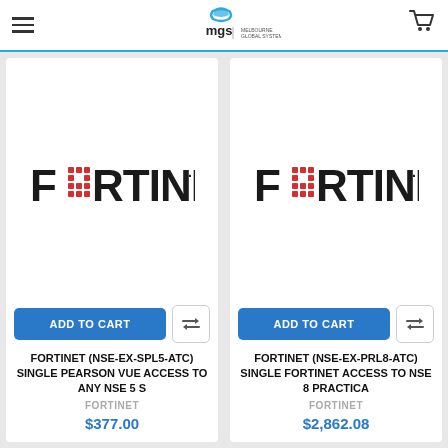mgs | Melbourne Global Systems
[Figure (logo): Fortinet logo - left product card]
ADD TO CART
FORTINET (NSE-EX-SPL5-ATC) SINGLE PEARSON VUE ACCESS TO ANY NSE 5 S
FORTINET
$377.00
[Figure (logo): Fortinet logo - right product card]
ADD TO CART
FORTINET (NSE-EX-PRL8-ATC) SINGLE FORTINET ACCESS TO NSE 8 PRACTICA
FORTINET
$2,862.08